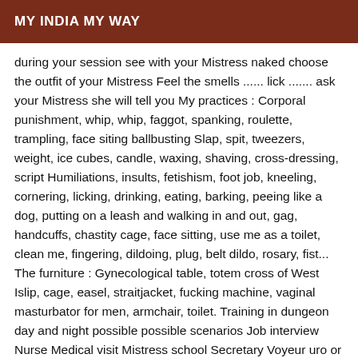MY INDIA MY WAY
during your session see with your Mistress naked choose the outfit of your Mistress Feel the smells ...... lick ....... ask your Mistress she will tell you My practices : Corporal punishment, whip, whip, faggot, spanking, roulette, trampling, face siting ballbusting Slap, spit, tweezers, weight, ice cubes, candle, waxing, shaving, cross-dressing, script Humiliations, insults, fetishism, foot job, kneeling, cornering, licking, drinking, eating, barking, peeing like a dog, putting on a leash and walking in and out, gag, handcuffs, chastity cage, face sitting, use me as a toilet, clean me, fingering, dildoing, plug, belt dildo, rosary, fist... The furniture : Gynecological table, totem cross of West Islip, cage, easel, straitjacket, fucking machine, vaginal masturbator for men, armchair, toilet. Training in dungeon day and night possible possible scenarios Job interview Nurse Medical visit Mistress school Secretary Voyeur uro or ...